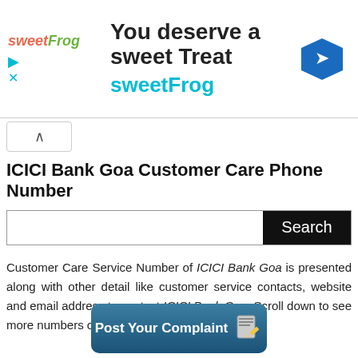[Figure (screenshot): Advertisement banner for sweetFrog with logo, headline 'You deserve a sweet Treat', subtext 'sweetFrog', and a blue directional arrow icon on the right.]
ICICI Bank Goa Customer Care Phone Number
Customer Care Service Number of ICICI Bank Goa is presented along with other detail like customer service contacts, website and email address to contact ICICI Bank Goa. Scroll down to see more numbers of ICICI Bank Goa.
[Figure (other): Post Your Complaint button with notepad and pencil icon on a blue gradient rounded rectangle background.]